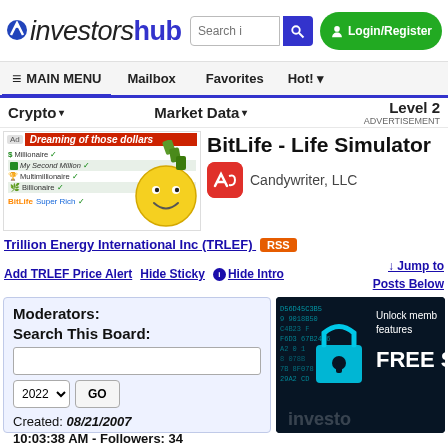investorshub
Search | Login/Register
MAIN MENU | Mailbox | Favorites | Hot!
Crypto | Market Data | Level 2 ADVERTISEMENT
[Figure (screenshot): Advertisement banner showing BitLife - Life Simulator app by Candywriter, LLC with a smiley emoji graphic]
BitLife - Life Simulator
Candywriter, LLC
Trillion Energy International Inc (TRLEF) RSS
Add TRLEF Price Alert | Hide Sticky | Hide Intro | Jump to Posts Below
Moderators:
Search This Board:
Created: 08/21/2007
10:03:38 AM - Followers: 34